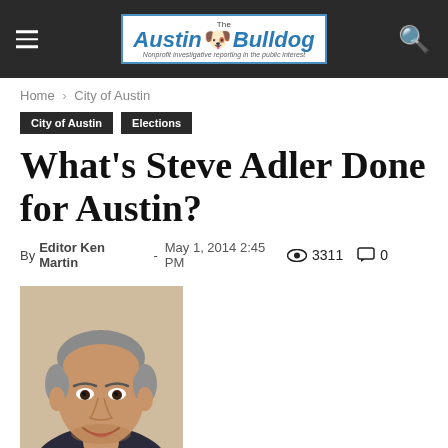The Austin Bulldog — Nonprofit investigative reporting in the public interest
Home › City of Austin
City of Austin
Elections
What's Steve Adler Done for Austin?
By Editor Ken Martin - May 1, 2014 2:45 PM  3311  0
[Figure (photo): Headshot photo of Steve Adler, a middle-aged man with grey hair, smiling, wearing a dark suit and red tie]